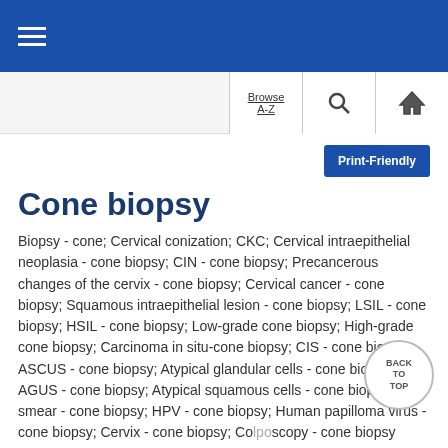≡ (hamburger menu)
Browse A-Z | Search | Home
Cone biopsy
Biopsy - cone; Cervical conization; CKC; Cervical intraepithelial neoplasia - cone biopsy; CIN - cone biopsy; Precancerous changes of the cervix - cone biopsy; Cervical cancer - cone biopsy; Squamous intraepithelial lesion - cone biopsy; LSIL - cone biopsy; HSIL - cone biopsy; Low-grade cone biopsy; High-grade cone biopsy; Carcinoma in situ-cone biopsy; CIS - cone biopsy; ASCUS - cone biopsy; Atypical glandular cells - cone biopsy; AGUS - cone biopsy; Atypical squamous cells - cone biopsy; Pap smear - cone biopsy; HPV - cone biopsy; Human papilloma virus - cone biopsy; Cervix - cone biopsy; Colposcopy - cone biopsy
A cone biopsy (conization) is surgery to remove a sample of abnormal tissue from the cervix. The cervix is the lower